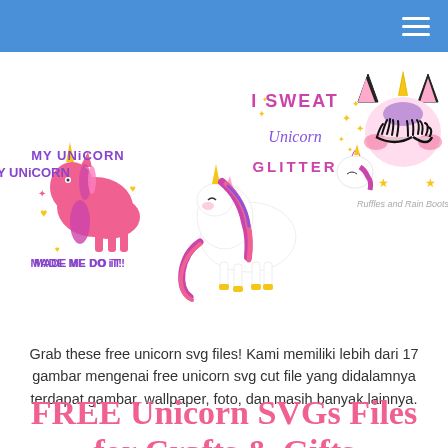[Figure (illustration): Three unicorn SVG clip art images: left shows 'My Unicorn Made Me Do It!' text with a pink unicorn silhouette and hearts; center shows 'I Sweat Unicorn Glitter' with a unicorn head and sparkles; right shows a unicorn face with pink cheeks, gold horn, black ears and eyelashes, with 'Ruffles and Rain Boots' text below.]
Grab these free unicorn svg files! Kami memiliki lebih dari 17 gambar mengenai free unicorn svg cut file yang didalamnya terdapat gambar, wallpaper, foto, dan masih banyak lainnya.
FREE Unicorn SVGs Files for Crafts & Gifts